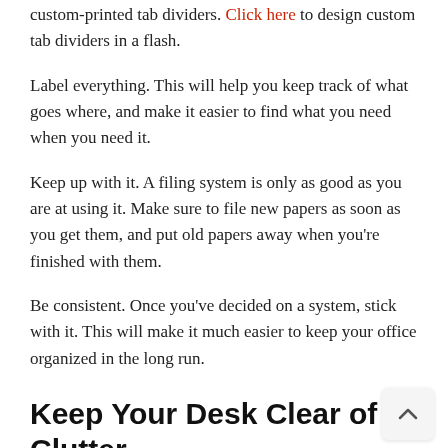custom-printed tab dividers. Click here to design custom tab dividers in a flash.
Label everything. This will help you keep track of what goes where, and make it easier to find what you need when you need it.
Keep up with it. A filing system is only as good as you are at using it. Make sure to file new papers as soon as you get them, and put old papers away when you're finished with them.
Be consistent. Once you've decided on a system, stick with it. This will make it much easier to keep your office organized in the long run.
Keep Your Desk Clear of Clutter